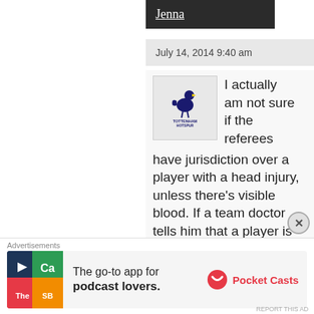Jenna
July 14, 2014 9:40 am
[Figure (logo): Tottenham Hotspur club crest/logo]
I actually am not sure if the referees have jurisdiction over a player with a head injury, unless there's visible blood. If a team doctor tells him that a player is fit, I'm not sure
Advertisements
[Figure (infographic): Pocket Casts advertisement: The go-to app for podcast lovers.]